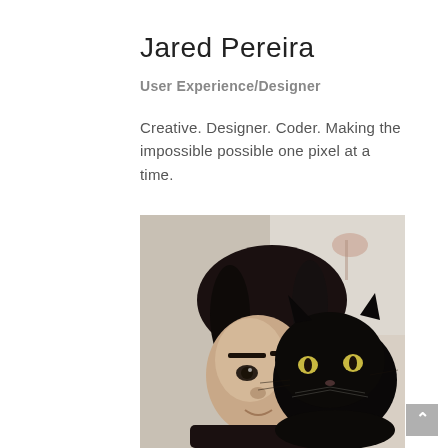Jared Pereira
User Experience/Designer
Creative. Designer. Coder. Making the impossible possible one pixel at a time.
[Figure (photo): A person holding a black cat close to their face, with a window and plant visible in the background. Indoor setting with soft natural light.]